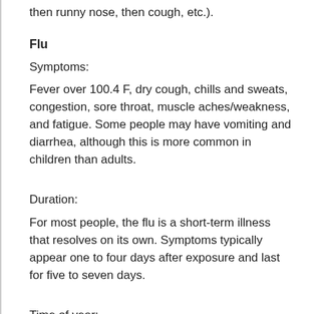then runny nose, then cough, etc.).
Flu
Symptoms:
Fever over 100.4 F, dry cough, chills and sweats, congestion, sore throat, muscle aches/weakness, and fatigue. Some people may have vomiting and diarrhea, although this is more common in children than adults.
Duration:
For most people, the flu is a short-term illness that resolves on its own. Symptoms typically appear one to four days after exposure and last for five to seven days.
Time of year: